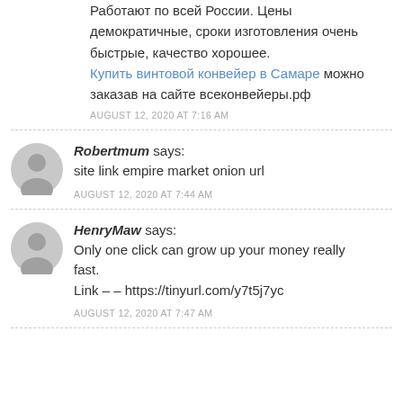Работают по всей России. Цены демократичные, сроки изготовления очень быстрые, качество хорошее. Купить винтовой конвейер в Самаре можно заказав на сайте всеконвейеры.рф
AUGUST 12, 2020 AT 7:16 AM
Robertmum says: site link empire market onion url
AUGUST 12, 2020 AT 7:44 AM
HenryMaw says: Only one click can grow up your money really fast. Link – – https://tinyurl.com/y7t5j7yc
AUGUST 12, 2020 AT 7:47 AM